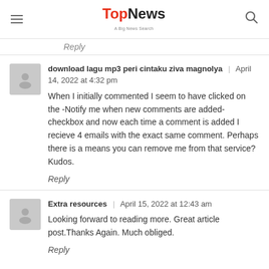TopNews | A Big News Search
Reply
download lagu mp3 peri cintaku ziva magnolya | April 14, 2022 at 4:32 pm
When I initially commented I seem to have clicked on the -Notify me when new comments are added- checkbox and now each time a comment is added I recieve 4 emails with the exact same comment. Perhaps there is a means you can remove me from that service? Kudos.
Reply
Extra resources | April 15, 2022 at 12:43 am
Looking forward to reading more. Great article post.Thanks Again. Much obliged.
Reply